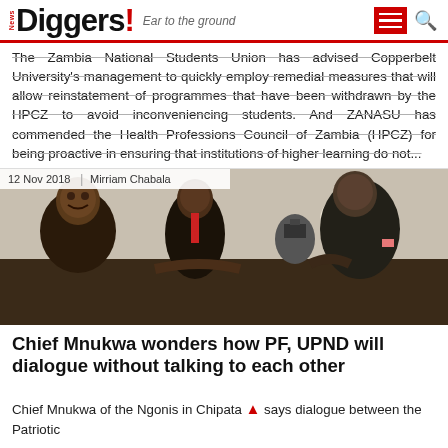News Diggers! Ear to the ground
The Zambia National Students Union has advised Copperbelt University's management to quickly employ remedial measures that will allow reinstatement of programmes that have been withdrawn by the HPCZ to avoid inconveniencing students. And ZANASU has commended the Health Professions Council of Zambia (HPCZ) for being proactive in ensuring that institutions of higher learning do not...
[Figure (photo): Three men in suits shaking hands at an event, with photographers in background. Date: 12 Nov 2018, Author: Mirriam Chabala]
Chief Mnukwa wonders how PF, UPND will dialogue without talking to each other
Chief Mnukwa of the Ngonis in Chipata says dialogue between the Patriotic